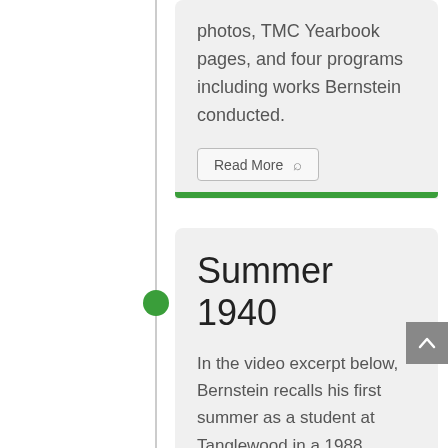photos, TMC Yearbook pages, and four programs including works Bernstein conducted.
Read More
Summer 1940
In the video excerpt below, Bernstein recalls his first summer as a student at Tanglewood in a 1988 interview: